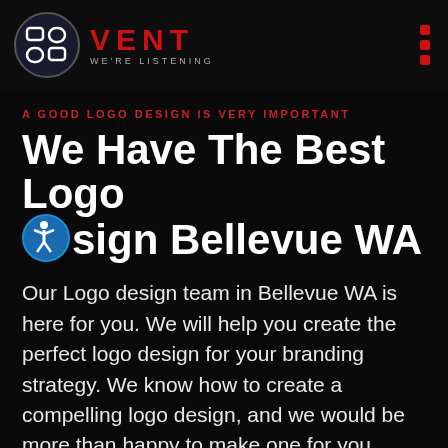VENT WE'RE LISTENING
A GOOD LOGO DESIGN IS VERY IMPORTANT
We Have The Best Logo Design Bellevue WA
Our Logo design team in Bellevue WA is here for you. We will help you create the perfect logo design for your branding strategy. We know how to create a compelling logo design, and we would be more than happy to make one for you.